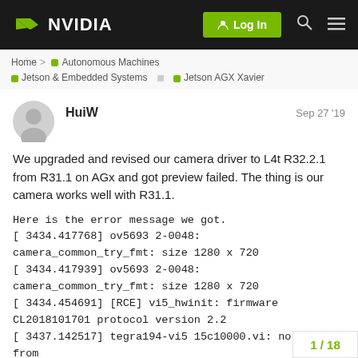NVIDIA | Log In
Home > Autonomous Machines > Jetson & Embedded Systems > Jetson AGX Xavier
HuiW  Sep 27 '19
We upgraded and revised our camera driver to L4t R32.2.1 from R31.1 on AGx and got preview failed. The thing is our camera works well with R31.1.

Here is the error message we got.
[ 3434.417768] ov5693 2-0048: camera_common_try_fmt: size 1280 x 720
[ 3434.417939] ov5693 2-0048: camera_common_try_fmt: size 1280 x 720
[ 3434.454691] [RCE] vi5_hwinit: firmware CL2018101701 protocol version 2.2
[ 3437.142517] tegra194-vi5 15c10000.vi: no reply from camera processor
1 / 18